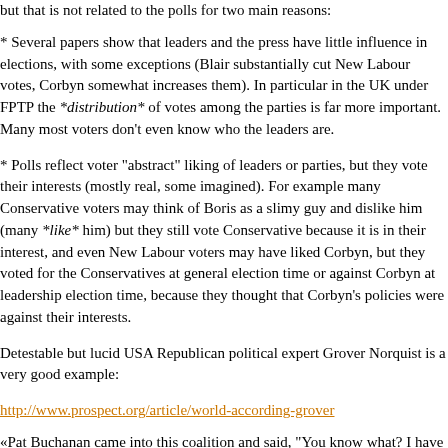but that is not related to the polls for two main reasons:
* Several papers show that leaders and the press have little influence in elections, with some exceptions (Blair substantially cut New Labour votes, Corbyn somewhat increases them). In particular in the UK under FPTP the *distribution* of votes among the parties is far more important. Many most voters don't even know who the leaders are.
* Polls reflect voter "abstract" liking of leaders or parties, but they vote their interests (mostly real, some imagined). For example many Conservative voters may think of Boris as a slimy guy and dislike him (many *like* him) but they still vote Conservative because it is in their interest, and even New Labour voters may have liked Corbyn, but they voted for the Conservatives at general election time or against Corbyn at leadership election time, because they thought that Corbyn's policies were against their interests.
Detestable but lucid USA Republican political expert Grover Norquist is a very good example:
http://www.prospect.org/article/world-according-grover
«Pat Buchanan came into this coalition and said, “You know what? I have polled everybody in the room and 70 percent think there are too many immigrants; 70 percent are skeptics on free trade with China. I will run for President as a Republican; I will get 70 percent of the vote.” He did it and then people continue to say that...